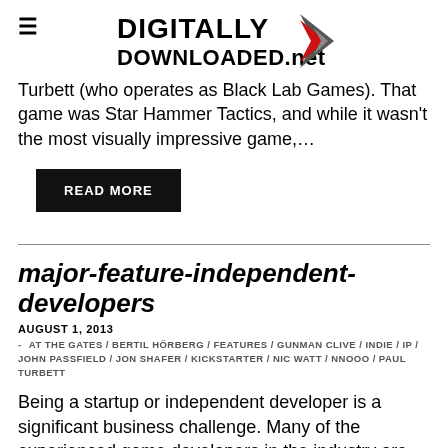DIGITALLY DOWNLOADED.net
Turbett (who operates as Black Lab Games). That game was Star Hammer Tactics, and while it wasn't the most visually impressive game,...
READ MORE
major-feature-independent-developers
AUGUST 1, 2013
AT THE GATES / BERTIL HÖRBERG / FEATURES / GUNMAN CLIVE / INDIE / IP / JOHN PASSFIELD / JON SHAFER / KICKSTARTER / NIC WATT / NNOOO / PAUL TURBETT
Being a startup or independent developer is a significant business challenge. Many of the experienced game developers in the industry are joining people just out of university to give the indie life a go as it does offer a great deal more creative control over the projects